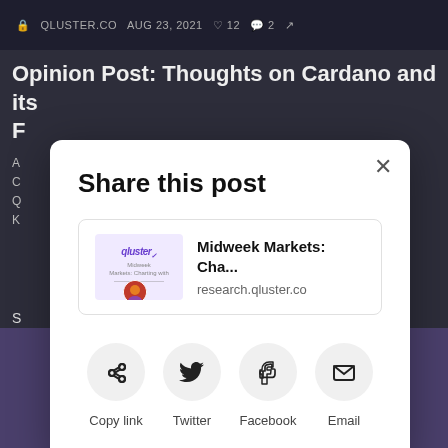QLUSTER.CO  AUG 23, 2021  ♡ 12  ◯ 2  ↗
Opinion Post: Thoughts on Cardano and its F…
A…
C…
Q…
K…
S…
[Figure (screenshot): Share this post modal dialog with link preview showing 'Midweek Markets: Cha...' at research.qluster.co, and share options: Copy link, Twitter, Facebook, Email]
Type your email...  Subscribe